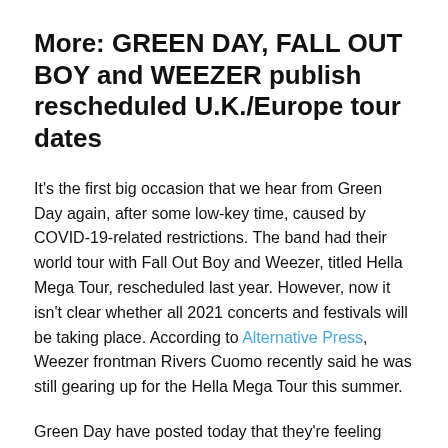More: GREEN DAY, FALL OUT BOY and WEEZER publish rescheduled U.K./Europe tour dates
It's the first big occasion that we hear from Green Day again, after some low-key time, caused by COVID-19-related restrictions. The band had their world tour with Fall Out Boy and Weezer, titled Hella Mega Tour, rescheduled last year. However, now it isn't clear whether all 2021 concerts and festivals will be taking place. According to Alternative Press, Weezer frontman Rivers Cuomo recently said he was still gearing up for the Hella Mega Tour this summer.
Green Day have posted today that they're feeling "fired up to finally be back on stage!" Who is even more excited at the moment is The Weeknd, this year's Super Bowl halftime show performer. The artist recenly revealed he had spent $7